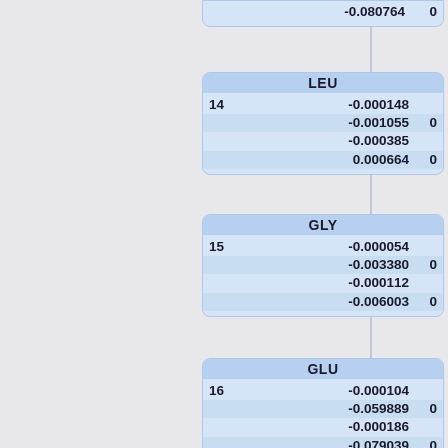| -0.080764 | 0 |
| LEU |
| --- |
| 14 | -0.000148 |  |
|  | -0.001055 | 0 |
|  | -0.000385 |  |
|  | 0.000664 | 0 |
| GLY |
| --- |
| 15 | -0.000054 |  |
|  | -0.003380 | 0 |
|  | -0.000112 |  |
|  | -0.006003 | 0 |
| GLU |
| --- |
| 16 | -0.000104 |  |
|  | -0.059889 | 0 |
|  | -0.000186 |  |
|  | -0.079039 | 0 |
| GLU |
| --- |
| 17 | -0.000227 |  |
|  | -0.089700 | 0 |
|  | -0.000368 |  |